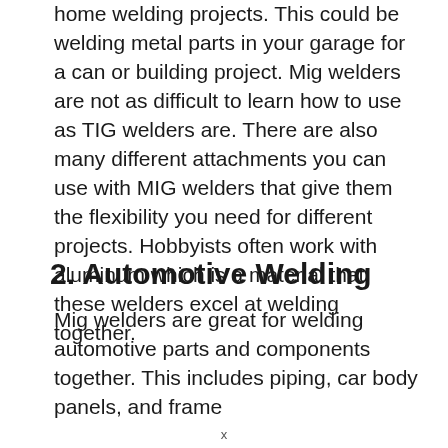home welding projects. This could be welding metal parts in your garage for a can or building project. Mig welders are not as difficult to learn how to use as TIG welders are. There are also many different attachments you can use with MIG welders that give them the flexibility you need for different projects. Hobbyists often work with aluminum which is a material that these welders excel at welding together.
2. Automotive Welding
Mig welders are great for welding automotive parts and components together. This includes piping, car body panels, and frame
x